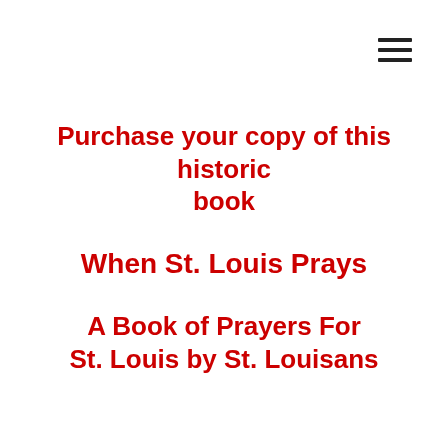[Figure (other): Hamburger menu icon (three horizontal lines) in top-right corner]
Purchase your copy of this historic book
When St. Louis Prays
A Book of Prayers For St. Louis by St. Louisans